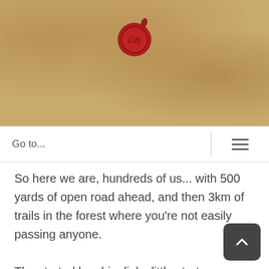[Figure (illustration): Parchment/aged paper textured header banner with a red wax seal centered at the top]
[Figure (screenshot): Navigation bar with 'Go to...' text on left and hamburger menu icon on right]
So here we are, hundreds of us... with 500 yards of open road ahead, and then 3km of trails in the forest where you’re not easily passing anyone.
The started has his dinky little starter gun... “Ready! Set!” . The gun didn’t go off, but that didn’t stop half the crowd from starting to run. If he’d yelled “GO!” and the gun didn’t go off, maybe ok. But he didn’t. The was no